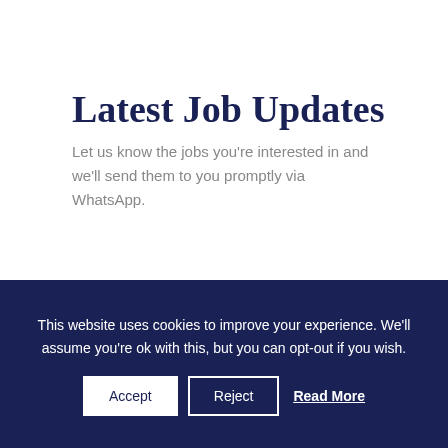Latest Job Updates
Let us know the jobs you're interested in and we'll send them to you promptly via WhatsApp.
This website uses cookies to improve your experience. We'll assume you're ok with this, but you can opt-out if you wish. Accept Reject Read More